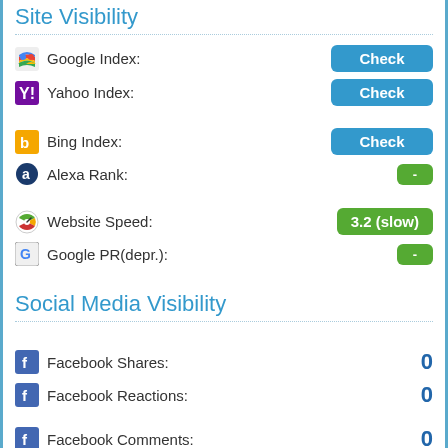Site Visibility
Google Index: Check
Yahoo Index: Check
Bing Index: Check
Alexa Rank: -
Website Speed: 3.2 (slow)
Google PR(depr.): -
Social Media Visibility
Facebook Shares: 0
Facebook Reactions: 0
Facebook Comments: 0